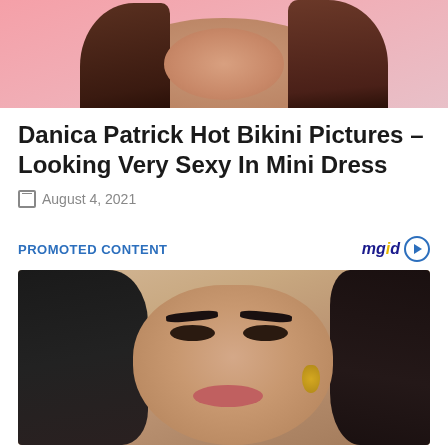[Figure (photo): Close-up photo of a woman with brown/auburn hair against a pink background, cropped at chin level]
Danica Patrick Hot Bikini Pictures – Looking Very Sexy In Mini Dress
August 4, 2021
PROMOTED CONTENT
[Figure (photo): Close-up portrait of an Asian woman with black hair, dramatic eye makeup with winged eyeliner, and gold earrings]